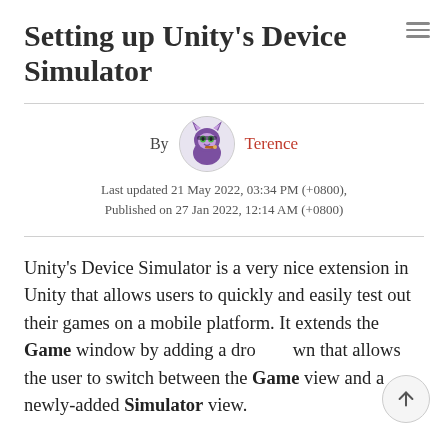Setting up Unity’s Device Simulator
By Terence
Last updated 21 May 2022, 03:34 PM (+0800),
Published on 27 Jan 2022, 12:14 AM (+0800)
Unity’s Device Simulator is a very nice extension in Unity that allows users to quickly and easily test out their games on a mobile platform. It extends the Game window by adding a dropdown that allows the user to switch between the Game view and a newly-added Simulator view.